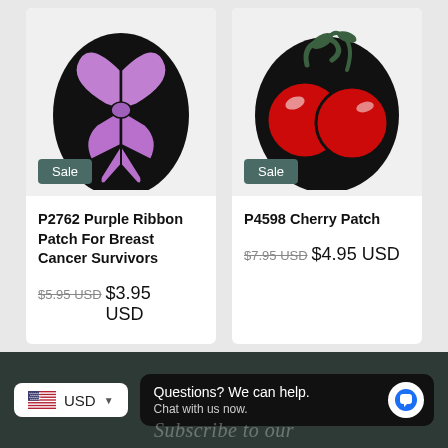[Figure (photo): Purple awareness ribbon embroidered patch on black background with Sale badge]
P2762 Purple Ribbon Patch For Breast Cancer Survivors
$5.95 USD  $3.95 USD
[Figure (photo): Red cherries embroidered patch on black background with Sale badge]
P4598 Cherry Patch
$7.95 USD  $4.95 USD
Questions? We can help. Chat with us now.
USD
Subscribe to our